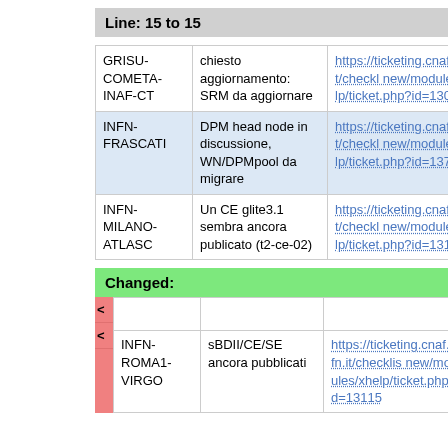Line: 15 to 15
| GRISU-COMETA-INAF-CT | chiesto aggiornamento: SRM da aggiornare | https://ticketing.cnaf.infn.it/checklist/new/modules/xhelp/ticket.php?id=13087 |
| INFN-FRASCATI | DPM head node in discussione, WN/DPMpool da migrare | https://ticketing.cnaf.infn.it/checklist/new/modules/xhelp/ticket.php?id=13763 |
| INFN-MILANO-ATLASC | Un CE glite3.1 sembra ancora publicato (t2-ce-02) | https://ticketing.cnaf.infn.it/checklist/new/modules/xhelp/ticket.php?id=13106 |
Changed:
|  |  |  |
| INFN-ROMA1-VIRGO | sBDII/CE/SE ancora pubblicati | https://ticketing.cnaf.infn.it/checklist/new/modules/xhelp/ticket.php?id=13115 |